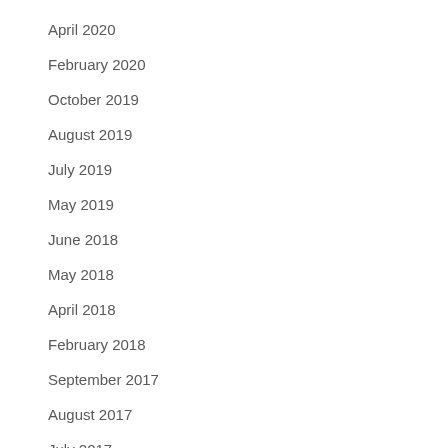April 2020
February 2020
October 2019
August 2019
July 2019
May 2019
June 2018
May 2018
April 2018
February 2018
September 2017
August 2017
July 2017
June 2017